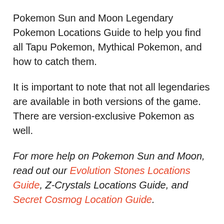Pokemon Sun and Moon Legendary Pokemon Locations Guide to help you find all Tapu Pokemon, Mythical Pokemon, and how to catch them.
It is important to note that not all legendaries are available in both versions of the game. There are version-exclusive Pokemon as well.
For more help on Pokemon Sun and Moon, read out our Evolution Stones Locations Guide, Z-Crystals Locations Guide, and Secret Cosmog Location Guide.